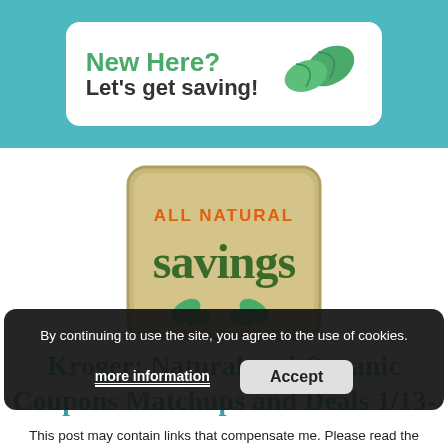[Figure (logo): Teal header banner with white pill-shaped button reading 'New Here? Let's get saving!' with green leaf icons]
[Figure (logo): All Natural Savings logo — rounded square with olive/tan background, orange text 'ALL NATURAL' and dark green stylized text 'savings' with leaf accents]
Kroger: Natural and Organic Coupons Matchups and Deals 1/13-1/19
By continuing to use the site, you agree to the use of cookies.
more information
Accept
This post may contain links that compensate me. Please read the